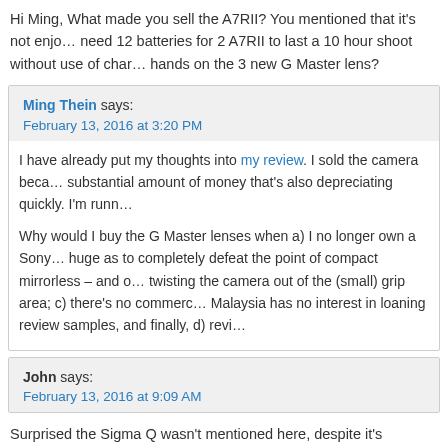Hi Ming, What made you sell the A7RII? You mentioned that it's not enjo… need 12 batteries for 2 A7RII to last a 10 hour shoot without use of char… hands on the 3 new G Master lens?
Ming Thein says:
February 13, 2016 at 3:20 PM
I have already put my thoughts into my review. I sold the camera beca… substantial amount of money that's also depreciating quickly. I'm runn…
Why would I buy the G Master lenses when a) I no longer own a Sony… huge as to completely defeat the point of compact mirrorless – and o… twisting the camera out of the (small) grip area; c) there's no commerc… Malaysia has no interest in loaning review samples, and finally, d) revi…
John says:
February 13, 2016 at 9:09 AM
Surprised the Sigma Q wasn't mentioned here, despite it's challenges 🙂 it difficult to beat for the price ($699!). Avoid Tungsten!